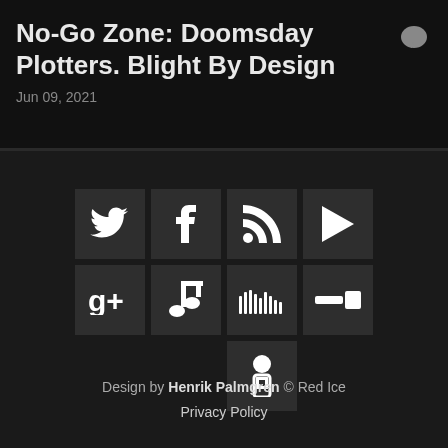No-Go Zone: Doomsday Plotters. Blight By Design
Jun 09, 2021
[Figure (infographic): Social media icon grid: Twitter, Facebook, RSS, Play, Google+, Music note, SoundCloud, Pencil/edit, and a person/share icon]
Design by Henrik Palmgren © Red Ice
Privacy Policy